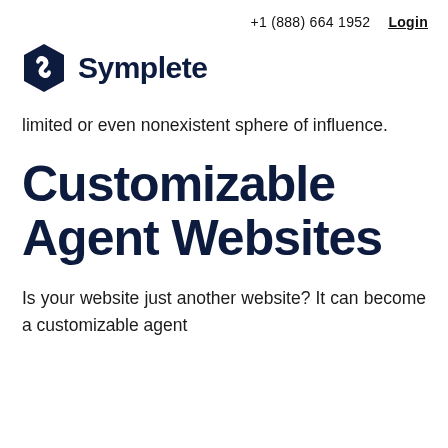+1 (888) 664 1952   Login
[Figure (logo): Symplete logo with a dark navy diamond/shield shaped icon and the word Symplete in dark navy bold text]
limited or even nonexistent sphere of influence.
Customizable Agent Websites
Is your website just another website? It can become a customizable agent